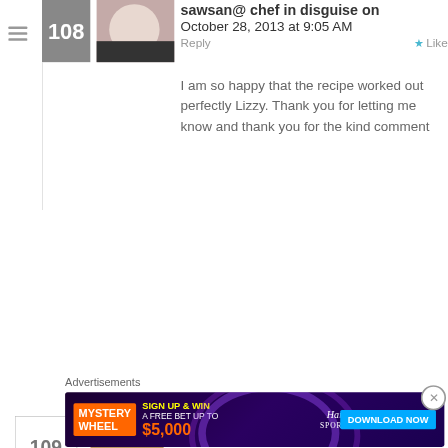sawsan@ chef in disguise on October 28, 2013 at 9:05 AM
Reply  Like
I am so happy that the recipe worked out perfectly Lizzy. Thank you for letting me know and thank you for the kind comment
ritogak on November 17, 2013 at 6:56 PM  Reply  Like
is very tasty food that I can learn and I won't you help me 🙂
Advertisements
[Figure (screenshot): Hard Rock Sportsbook advertisement banner: Mystery Wheel - Sign up and win a free bet up to $5,000 - Download Now]